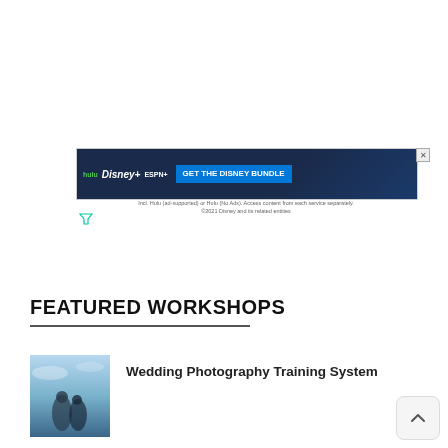[Figure (screenshot): Disney Bundle advertisement banner showing Hulu, Disney+, and ESPN+ logos with 'GET THE DISNEY BUNDLE' call-to-action button on dark navy background]
Incl. Hulu (ad-supported) or Hulu (No Ads). Access content from each service separately. ©2021 Disney and its related entities
FEATURED WORKSHOPS
Wedding Photography Training System